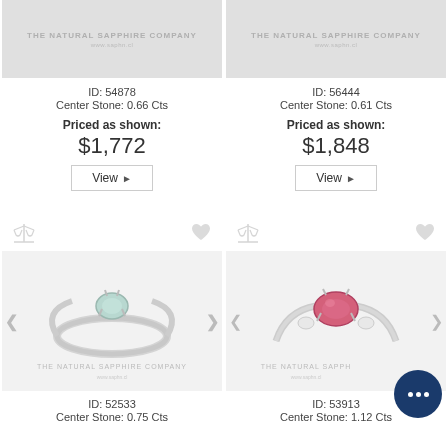[Figure (photo): Ring product image for ID 54878 - The Natural Sapphire Company watermark]
ID: 54878
Center Stone: 0.66 Cts
Priced as shown:
$1,772
View ▶
[Figure (photo): Ring product image for ID 56444 - The Natural Sapphire Company watermark]
ID: 56444
Center Stone: 0.61 Cts
Priced as shown:
$1,848
View ▶
[Figure (photo): Ring with light blue/green sapphire center stone on white gold band - ID 52533]
ID: 52533
Center Stone: 0.75 Cts
[Figure (photo): Ring with pink/red oval sapphire center stone with side diamonds on twisted white gold band - ID 53913]
ID: 53913
Center Stone: 1.12 Cts